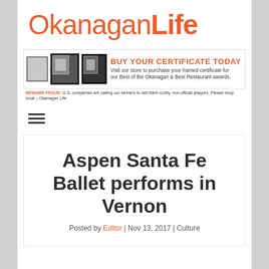OkanaganLife
[Figure (infographic): Banner advertisement: 'BUY YOUR CERTIFICATE TODAY – Visit our store to purchase your framed certificate for our Best of the Okanagan & Best Restaurant awards. BEWARE FRAUD: U.S. companies are calling our winners to sell them costly, non-official plaques. Please shop local – Okanagan Life']
[Figure (other): Hamburger menu icon (three horizontal lines)]
Aspen Santa Fe Ballet performs in Vernon
Posted by Editor | Nov 13, 2017 | Culture